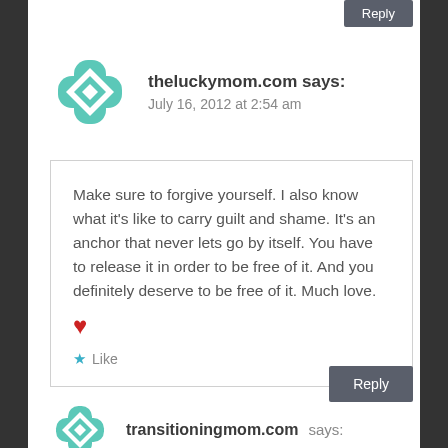Reply
theluckymom.com says:
July 16, 2012 at 2:54 am
Make sure to forgive yourself. I also know what it’s like to carry guilt and shame. It’s an anchor that never lets go by itself. You have to release it in order to be free of it. And you definitely deserve to be free of it. Much love. ♥
★ Like
Reply
transitioningmom.com says: